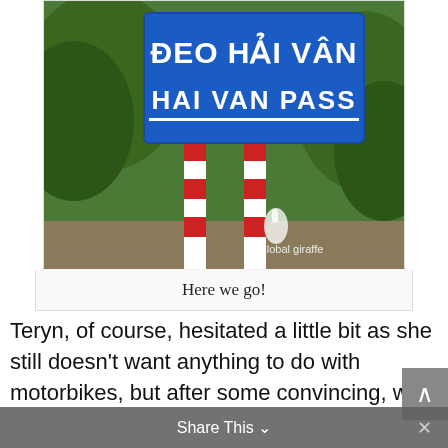[Figure (photo): Hai Van Pass road sign (blue sign reading 'ĐEO HẢI VÂN / HAI VAN PASS') on red-and-white striped poles, surrounded by tropical green plants. A white giraffe logo watermark is visible at the bottom right with text 'global giraffe'.]
Here we go!
Teryn, of course, hesitated a little bit as she still doesn't want anything to do with motorbikes, but after some convincing, we
Share This ∨